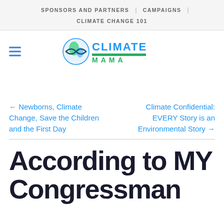SPONSORS AND PARTNERS | CAMPAIGNS | CLIMATE CHANGE 101
[Figure (logo): ClimateMama logo with globe graphic and green underline]
← Newborns, Climate Change, Save the Children and the First Day
Climate Confidential: EVERY Story is an Environmental Story →
According to MY Congressman